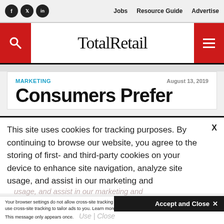TotalRetail — Jobs | Resource Guide | Advertise
[Figure (logo): TotalRetail logo with red search box left and red hamburger menu right]
MARKETING — August 13, 2019
Consumers Prefer
This site uses cookies for tracking purposes. By continuing to browse our website, you agree to the storing of first- and third-party cookies on your device to enhance site navigation, analyze site usage, and assist in our marketing and
Accept and Close ✕
Your browser settings do not allow cross-site tracking for advertising. Click on this page to allow AdRoll to use cross-site tracking to tailor ads to you. Learn more or opt out of this AdRoll tracking by clicking here. This message only appears once.